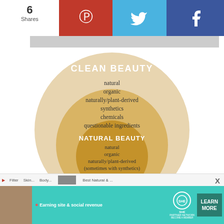6 Shares
[Figure (infographic): Nested circles diagram showing three categories of beauty: outermost large circle labeled CLEAN BEAUTY containing natural, organic, naturally/plant-derived, synthetics, chemicals, questionable ingredients; middle circle labeled NATURAL BEAUTY containing natural, organic, naturally/plant-derived (sometimes with synthetics); innermost circle labeled ORGANIC BEAUTY containing natural, organic, naturally/plant-derived]
[Figure (screenshot): Website navigation bar with social sharing icons (Pinterest red, Twitter blue, Facebook dark blue) showing 6 Shares count]
[Figure (infographic): Bottom advertisement bar for SHE Partner Network - Earning site & social revenue - LEARN MORE button]